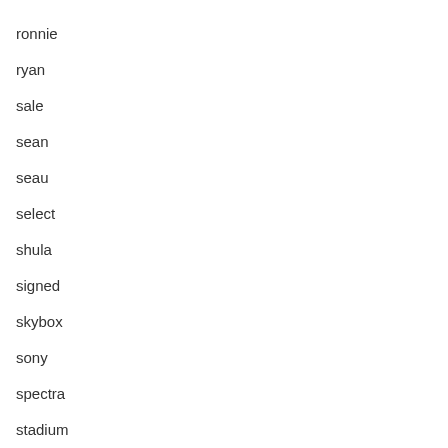ronnie
ryan
sale
sean
seau
select
shula
signed
skybox
sony
spectra
stadium
tequila